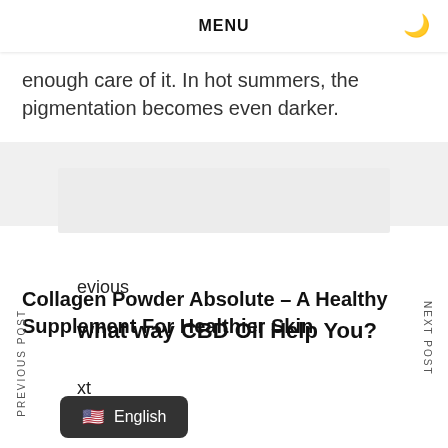MENU
enough care of it. In hot summers, the pigmentation becomes even darker.
PREVIOUS POST
NEXT POST
evious
what way CBD Oil Help You?
xt
Collagen Powder Absolute – A Healthy Supplement For Healthier Skin
English